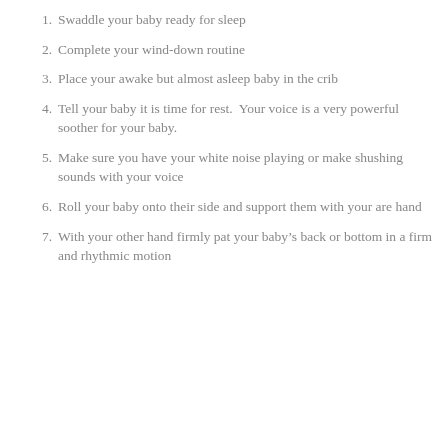1. Swaddle your baby ready for sleep
2. Complete your wind-down routine
3. Place your awake but almost asleep baby in the crib
4. Tell your baby it is time for rest.  Your voice is a very powerful soother for your baby.
5. Make sure you have your white noise playing or make shushing sounds with your voice
6. Roll your baby onto their side and support them with your are hand
7. With your other hand firmly pat your baby’s back or bottom in a firm and rhythmic motion